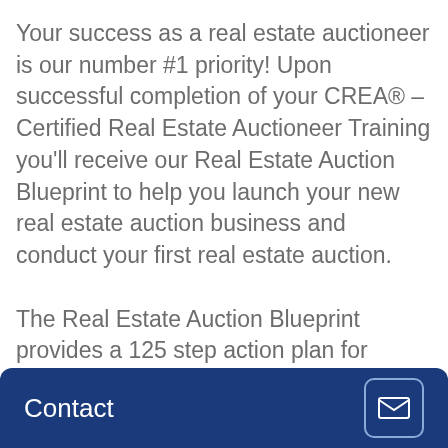Your success as a real estate auctioneer is our number #1 priority! Upon successful completion of your CREA® – Certified Real Estate Auctioneer Training you'll receive our Real Estate Auction Blueprint to help you launch your new real estate auction business and conduct your first real estate auction.

The Real Estate Auction Blueprint provides a 125 step action plan for setting up and completing your first real estate auction. Each [task/step will be]... sale
Contact